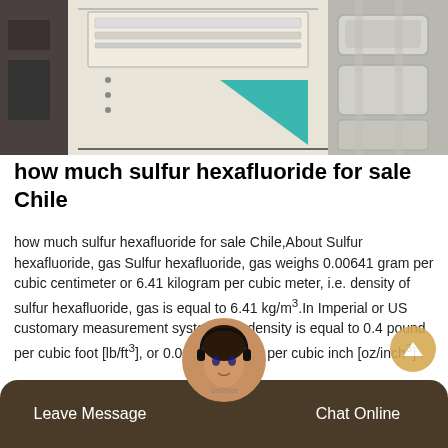[Figure (photo): Photo of a document/placard on industrial equipment with a teal triangle logo, alongside what appears to be industrial tanks or containers on the right side]
how much sulfur hexafluoride for sale Chile
how much sulfur hexafluoride for sale Chile,About Sulfur hexafluoride, gas Sulfur hexafluoride, gas weighs 0.00641 gram per cubic centimeter or 6.41 kilogram per cubic meter, i.e. density of sulfur hexafluoride, gas is equal to 6.41 kg/m³.In Imperial or US customary measurement system, the density is equal to 0.4 pound per cubic foot [lb/ft³], or 0.003705 ounce per cubic inch [oz/inch³] .
Leave Message   Chat Online